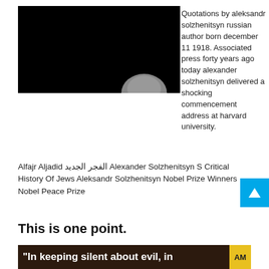[Figure (photo): Black image with partial head silhouette at bottom right, next to text about Aleksandr Solzhenitsyn]
Quotations by aleksandr solzhenitsyn russian author born december 11 1918. Associated press forty years ago today alexander solzhenitsyn delivered a shocking commencement address at harvard university.
Alfajr Aljadid الفجر الجديد Alexander Solzhenitsyn S Critical History Of Jews Aleksandr Solzhenitsyn Nobel Prize Winners Nobel Peace Prize
This is one point.
[Figure (screenshot): Dark brown banner with white bold text: "In keeping silent about evil, in" and yellow AM tag on the right]